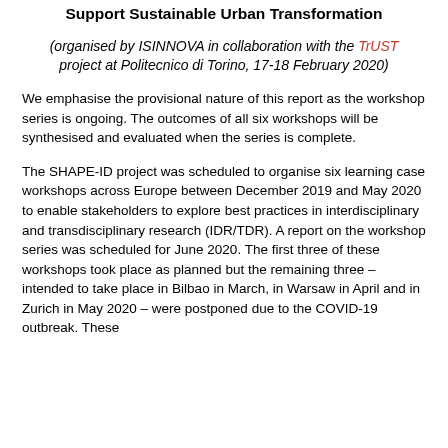Support Sustainable Urban Transformation
(organised by ISINNOVA in collaboration with the TrUST project at Politecnico di Torino, 17-18 February 2020)
We emphasise the provisional nature of this report as the workshop series is ongoing. The outcomes of all six workshops will be synthesised and evaluated when the series is complete.
The SHAPE-ID project was scheduled to organise six learning case workshops across Europe between December 2019 and May 2020 to enable stakeholders to explore best practices in interdisciplinary and transdisciplinary research (IDR/TDR). A report on the workshop series was scheduled for June 2020. The first three of these workshops took place as planned but the remaining three – intended to take place in Bilbao in March, in Warsaw in April and in Zurich in May 2020 – were postponed due to the COVID-19 outbreak. These